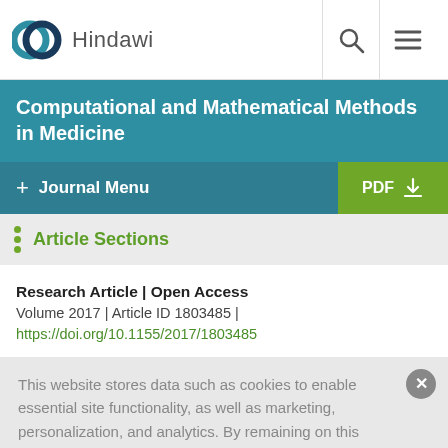Hindawi
Computational and Mathematical Methods in Medicine
+ Journal Menu | PDF
Article Sections
Research Article | Open Access
Volume 2017 | Article ID 1803485 |
https://doi.org/10.1155/2017/1803485
This website stores data such as cookies to enable essential site functionality, as well as marketing, personalization, and analytics. By remaining on this website you indicate your consent. Cookie Policy